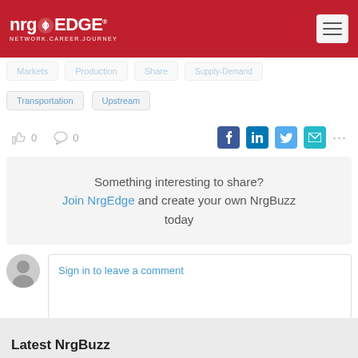nrg EDGE NETWORK.CAREER.JOURNEY
Markets | Production | Share | Supply-Demand
Transportation | Upstream
0  0 [like and comment counts] [social share icons: Facebook, LinkedIn, Twitter, Email]
Something interesting to share? Join NrgEdge and create your own NrgBuzz today
Sign in to leave a comment
Latest NrgBuzz